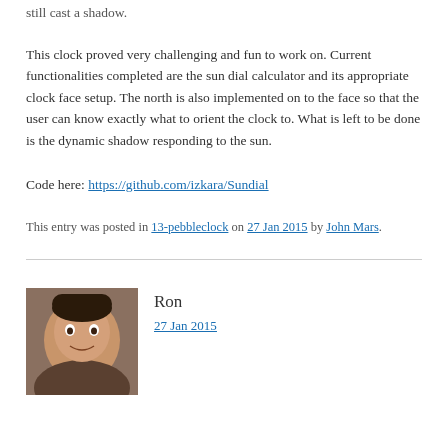still cast a shadow.
This clock proved very challenging and fun to work on. Current functionalities completed are the sun dial calculator and its appropriate clock face setup. The north is also implemented on to the face so that the user can know exactly what to orient the clock to. What is left to be done is the dynamic shadow responding to the sun.
Code here: https://github.com/izkara/Sundial
This entry was posted in 13-pebbleclock on 27 Jan 2015 by John Mars.
Ron
27 Jan 2015